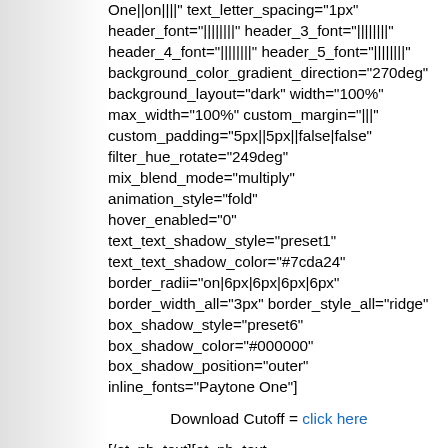One||on||||" text_letter_spacing="1px" header_font="||||||||" header_3_font="||||||||" header_4_font="||||||||" header_5_font="||||||||" background_color_gradient_direction="270deg" background_layout="dark" width="100%" max_width="100%" custom_margin="|||" custom_padding="5px||5px||false|false" filter_hue_rotate="249deg" mix_blend_mode="multiply" animation_style="fold" hover_enabled="0" text_text_shadow_style="preset1" text_text_shadow_color="#7cda24" border_radii="on|6px|6px|6px|6px" border_width_all="3px" border_style_all="ridge" box_shadow_style="preset6" box_shadow_color="#000000" box_shadow_position="outer" inline_fonts="Paytone One"]
Download Cutoff = click here
[/et_pb_text][et_pb_text disabled_on="off|off|off" _builder_version="4.4.1" text_font="Alfa Slab One||on||||" text_letter_spacing="1px" header_font="||||||||" header_3_font="||||||||" header_4_font="||||||||" header_5_font="||||||||"